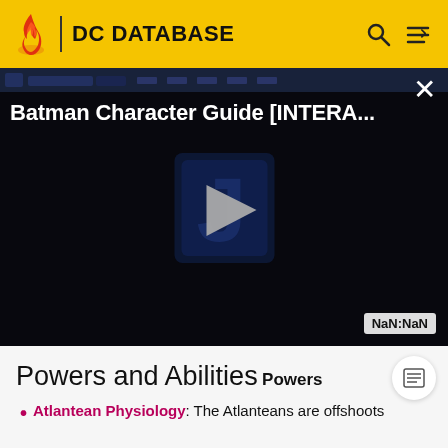DC DATABASE
[Figure (screenshot): Video player showing Batman Character Guide [INTERA...] with a dark background, play button in center, NaN:NaN timestamp, and close X button.]
Powers and Abilities
Powers
Atlantean Physiology: The Atlanteans are offshoots